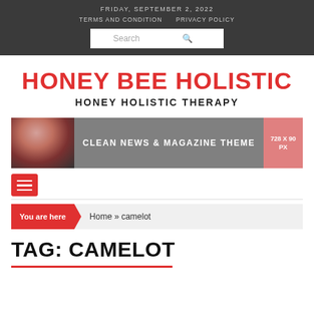FRIDAY, SEPTEMBER 2, 2022
TERMS AND CONDITION   PRIVACY POLICY
[Figure (screenshot): Search input box with red magnifying glass icon]
HONEY BEE HOLISTIC
HONEY HOLISTIC THERAPY
[Figure (illustration): Banner advertisement: photo of woman on left, grey center with text CLEAN NEWS & MAGAZINE THEME, pink right box with 728 X 90 PX]
[Figure (other): Red hamburger menu icon button with three white horizontal lines]
You are here   Home » camelot
TAG: CAMELOT